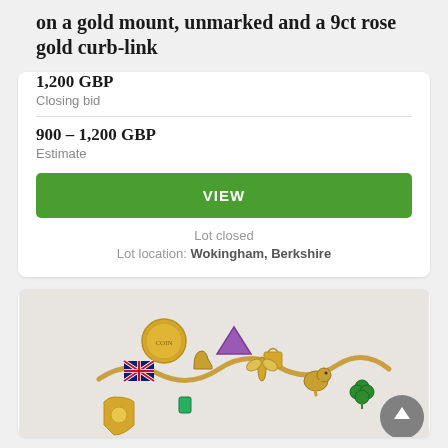on a gold mount, unmarked and a 9ct rose gold curb-link
1,200 GBP
Closing bid
900 – 1,200 GBP
Estimate
VIEW
Lot closed
Lot location: Wokingham, Berkshire
[Figure (photo): Gold charm bracelet with multiple charms including a coin, Union Jack flag, four-leaf clover, and various other decorative charms, photographed on a light grey background.]